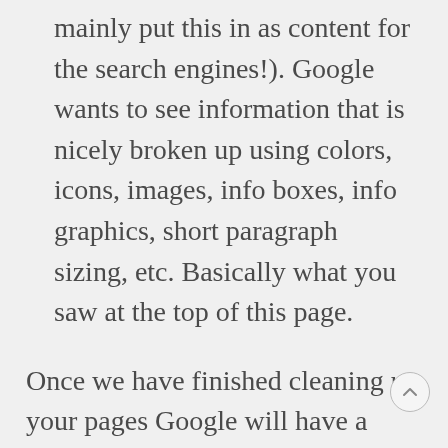mainly put this in as content for the search engines!). Google wants to see information that is nicely broken up using colors, icons, images, info boxes, info graphics, short paragraph sizing, etc. Basically what you saw at the top of this page.
Once we have finished cleaning up your pages Google will have a crystal